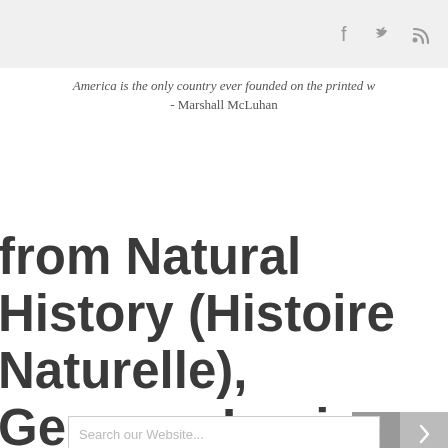Social icons: facebook, twitter, rss
America is the only country ever founded on the printed w... - Marshall McLuhan
from Natural History (Histoire Naturelle), Georges-Louis Leclerc, Comte de Buffon
SEARCH
Search our Website...